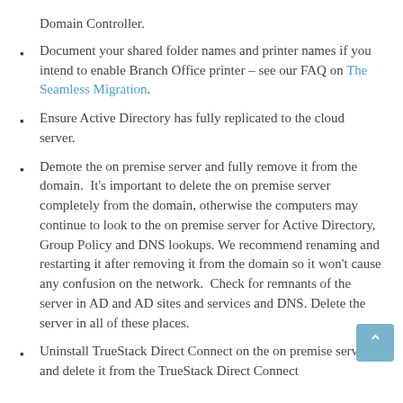Domain Controller.
Document your shared folder names and printer names if you intend to enable Branch Office printer – see our FAQ on The Seamless Migration.
Ensure Active Directory has fully replicated to the cloud server.
Demote the on premise server and fully remove it from the domain. It's important to delete the on premise server completely from the domain, otherwise the computers may continue to look to the on premise server for Active Directory, Group Policy and DNS lookups. We recommend renaming and restarting it after removing it from the domain so it won't cause any confusion on the network. Check for remnants of the server in AD and AD sites and services and DNS. Delete the server in all of these places.
Uninstall TrueStack Direct Connect on the on premise server and delete it from the TrueStack Direct Connect interface.